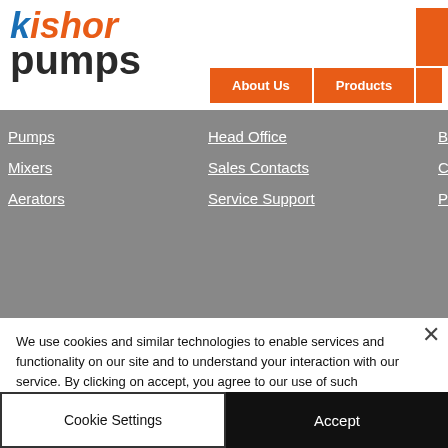[Figure (logo): Kishor Pumps logo with stylized text in orange and dark grey]
About Us | Products
[Figure (screenshot): Navigation menu overlay on grey background with links: Pumps, Mixers, Aerators, Head Office, Sales Contacts, Service Support, Brochures, Case Studies, Publications]
We use cookies and similar technologies to enable services and functionality on our site and to understand your interaction with our service. By clicking on accept, you agree to our use of such technologies for marketing and analytics. See Privacy Policy
Cookie Settings
Accept